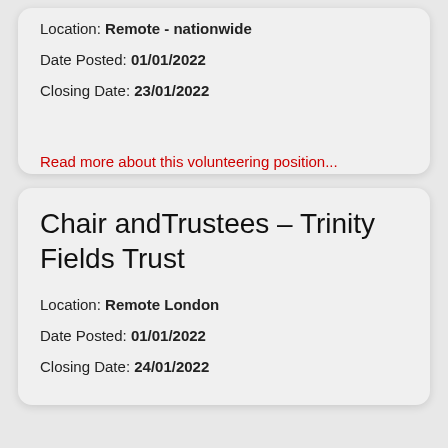Location: Remote - nationwide
Date Posted: 01/01/2022
Closing Date: 23/01/2022
Read more about this volunteering position...
Chair andTrustees – Trinity Fields Trust
Location: Remote London
Date Posted: 01/01/2022
Closing Date: 24/01/2022